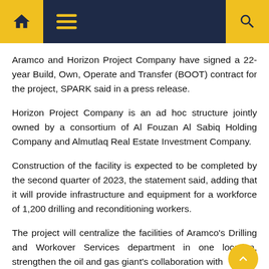Navigation header with home, menu, and search icons
Aramco and Horizon Project Company have signed a 22-year Build, Own, Operate and Transfer (BOOT) contract for the project, SPARK said in a press release.
Horizon Project Company is an ad hoc structure jointly owned by a consortium of Al Fouzan Al Sabiq Holding Company and Almutlaq Real Estate Investment Company.
Construction of the facility is expected to be completed by the second quarter of 2023, the statement said, adding that it will provide infrastructure and equipment for a workforce of 1,200 drilling and reconditioning workers.
The project will centralize the facilities of Aramco's Drilling and Workover Services department in one location, strengthen the oil and gas giant's collaboration with